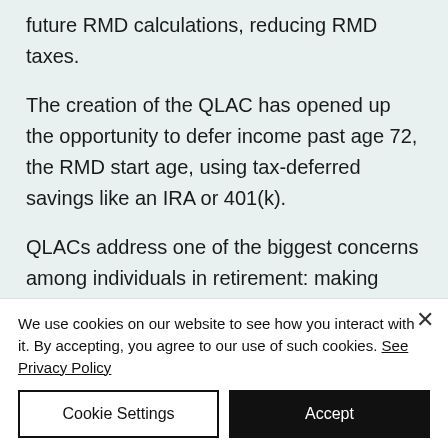future RMD calculations, reducing RMD taxes.
The creation of the QLAC has opened up the opportunity to defer income past age 72, the RMD start age, using tax-deferred savings like an IRA or 401(k).
QLACs address one of the biggest concerns among individuals in retirement: making sure they don't outlive their
We use cookies on our website to see how you interact with it. By accepting, you agree to our use of such cookies. See Privacy Policy